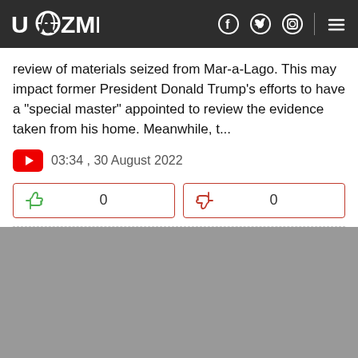UAZMI
review of materials seized from Mar-a-Lago. This may impact former President Donald Trump's efforts to have a "special master" appointed to review the evidence taken from his home. Meanwhile, t...
03:34 , 30 August 2022
[Figure (infographic): Like button with count 0 and dislike button with count 0]
[Figure (photo): Grey area below content]